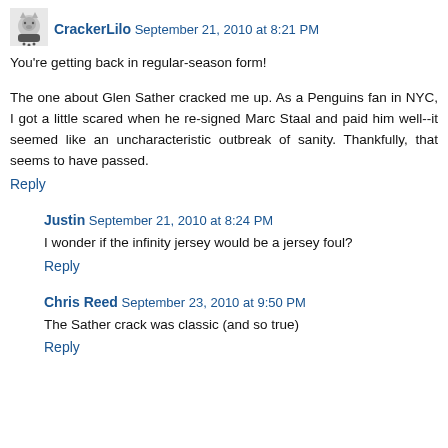[Figure (illustration): Small avatar icon for user CrackerLilo]
CrackerLilo September 21, 2010 at 8:21 PM
You're getting back in regular-season form!
The one about Glen Sather cracked me up. As a Penguins fan in NYC, I got a little scared when he re-signed Marc Staal and paid him well--it seemed like an uncharacteristic outbreak of sanity. Thankfully, that seems to have passed.
Reply
Justin September 21, 2010 at 8:24 PM
I wonder if the infinity jersey would be a jersey foul?
Reply
Chris Reed September 23, 2010 at 9:50 PM
The Sather crack was classic (and so true)
Reply